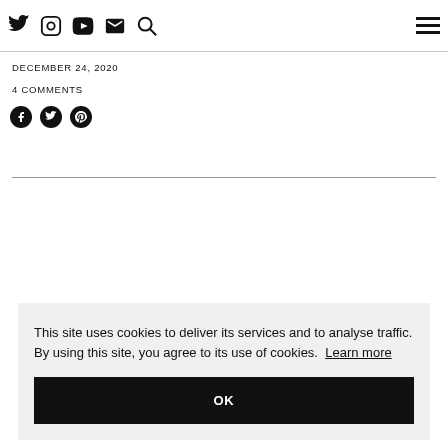Twitter Instagram YouTube Mail Search [hamburger menu]
DECEMBER 24, 2020
4 COMMENTS
[Figure (other): Social share icons: Facebook, Twitter, Pinterest]
This site uses cookies to deliver its services and to analyse traffic. By using this site, you agree to its use of cookies. Learn more
OK